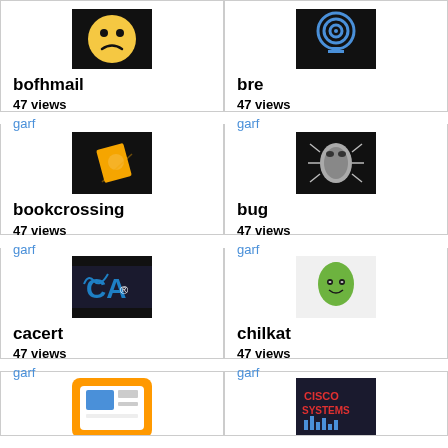[Figure (screenshot): bofhmail app icon - yellow smiley face on black background]
bofhmail
47 views
garf
[Figure (screenshot): bre app icon - wifi/signal symbol on dark background]
bre
47 views
garf
[Figure (screenshot): bookcrossing app icon - flying book character on black background]
bookcrossing
47 views
garf
[Figure (screenshot): bug app icon - metallic bug on black background]
bug
47 views
garf
[Figure (screenshot): cacert app icon - CA logo in blue on black background]
cacert
47 views
garf
[Figure (screenshot): chilkat app icon - green alien face]
chilkat
47 views
garf
[Figure (screenshot): Partial app icon - orange/white tablet app icon]
[Figure (screenshot): Partial Cisco Systems app icon on dark background]